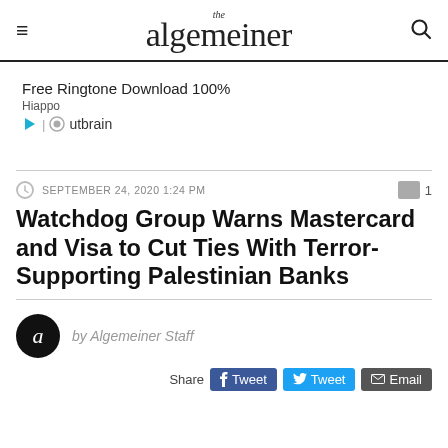the algemeiner
[Figure (infographic): Advertisement block: Free Ringtone Download 100% by Hiappo, powered by Outbrain]
SEPTEMBER 24, 2020 1:24 PM
Watchdog Group Warns Mastercard and Visa to Cut Ties With Terror-Supporting Palestinian Banks
by Algemeiner Staff
Share  Tweet  Email